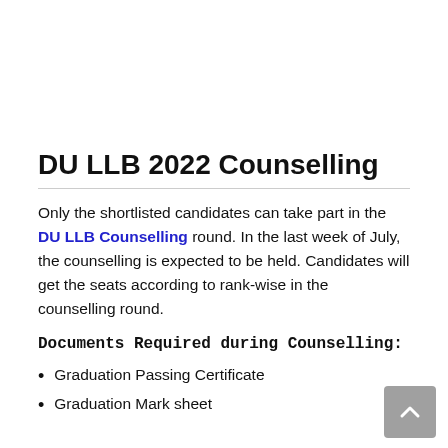DU LLB 2022 Counselling
Only the shortlisted candidates can take part in the DU LLB Counselling round. In the last week of July, the counselling is expected to be held. Candidates will get the seats according to rank-wise in the counselling round.
Documents Required during Counselling:
Graduation Passing Certificate
Graduation Mark sheet